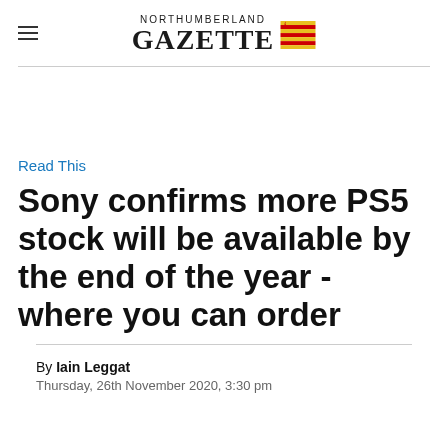NORTHUMBERLAND GAZETTE
Read This
Sony confirms more PS5 stock will be available by the end of the year - where you can order
By Iain Leggat
Thursday, 26th November 2020, 3:30 pm